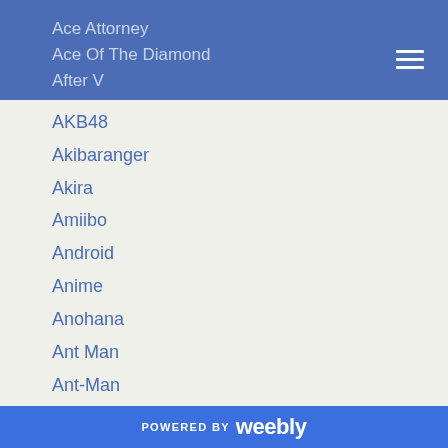Ace Attorney
Ace Of The Diamond
After V
AKB48
Akibaranger
Akira
Amiibo
Android
Anime
Anohana
Ant Man
Ant-Man
Aozora Yell
April Fool's
Arcade
Articles
Asian Kung-Fu Generation
Assassination Classroom
Astro Boy
POWERED BY weebly